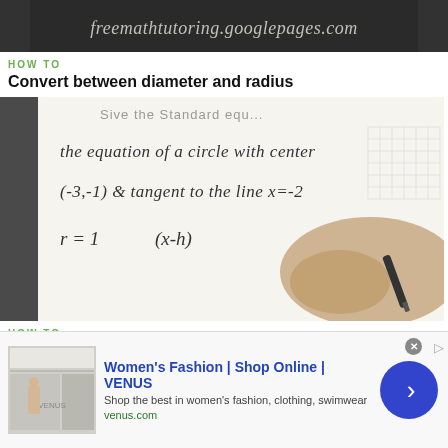[Figure (screenshot): Website banner with text 'freemathtutoring.googlepages.com' on dark background]
HOW TO
Convert between diameter and radius
[Figure (photo): Photo of a hand writing on a whiteboard: 'the equation of a circle with center (-3,-1) & tangent to the line x=-2' and 'r=1   (x-h)']
HOW TO
Find the equation of a circle given: center & tangent
[Figure (screenshot): Advertisement: Women's Fashion | Shop Online | VENUS. Shop the best in women's fashion, clothing, swimwear. venus.com]